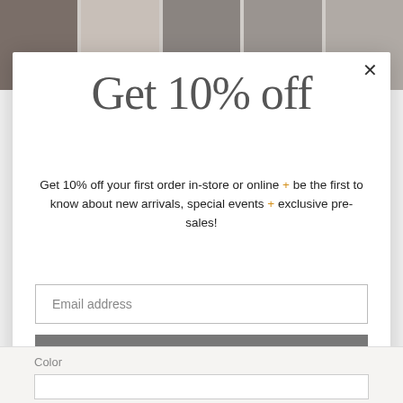[Figure (photo): Strip of 5 product/fashion images at the top of the page showing people in clothing]
Get 10% off
Get 10% off your first order in-store or online + be the first to know about new arrivals, special events + exclusive pre-sales!
Email address
Subscribe
Color